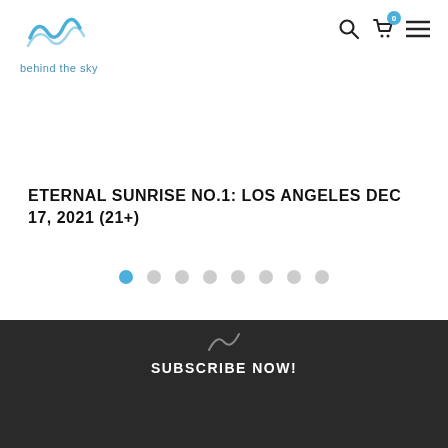[Figure (logo): Behind the Sky logo — wavy water mark icon in blue above text 'behind the sky']
[Figure (infographic): Navigation icons: search (magnifying glass), cart with badge showing 0, hamburger menu]
ETERNAL SUNRISE NO.1: LOS ANGELES DEC 17, 2021 (21+)
[Figure (infographic): Horizontal pagination dots: 8 dots, first one filled blue, rest grey]
[Figure (infographic): Small logo icon (wave/arc shape) above subscribe section on dark background]
SUBSCRIBE NOW!